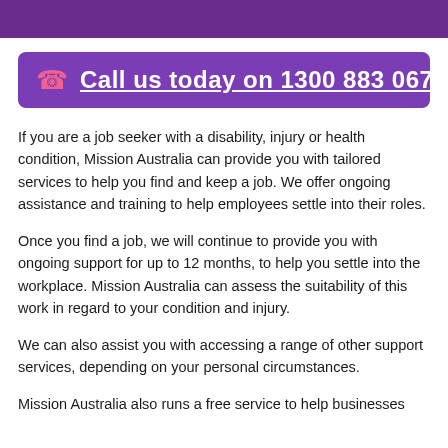Call us today on 1300 883 067
If you are a job seeker with a disability, injury or health condition, Mission Australia can provide you with tailored services to help you find and keep a job. We offer ongoing assistance and training to help employees settle into their roles.
Once you find a job, we will continue to provide you with ongoing support for up to 12 months, to help you settle into the workplace. Mission Australia can assess the suitability of this work in regard to your condition and injury.
We can also assist you with accessing a range of other support services, depending on your personal circumstances.
Mission Australia also runs a free service to help businesses